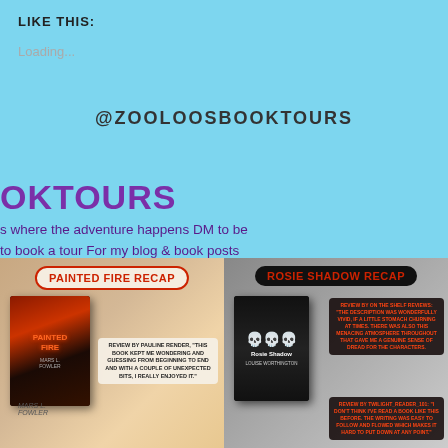LIKE THIS:
Loading...
@ZOOLOOSBOOKTOURS
OKTOURS
s where the adventure happens DM to be
to book a tour For my blog & book posts
k put @zooloosbookdiary
[Figure (illustration): Book recap card for Painted Fire showing book cover tablet and review quote by Pauline Render]
[Figure (illustration): Book recap card for Rosie Shadow showing book cover tablet and two review quotes]